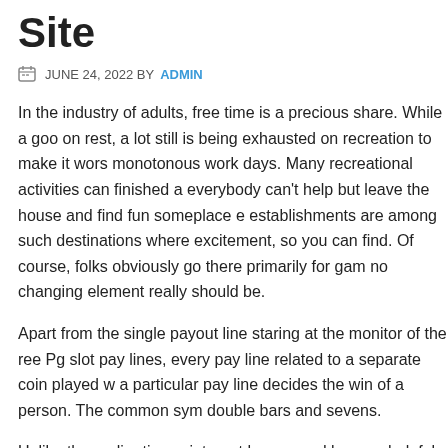Site
JUNE 24, 2022 BY ADMIN
In the industry of adults, free time is a precious share. While a good on rest, a lot still is being exhausted on recreation to make it worse monotonous work days. Many recreational activities can finished at everybody can't help but leave the house and find fun someplace e establishments are among such destinations where excitement, so you can find. Of course, folks obviously go there primarily for gam no changing element really should be.
Apart from the single payout line staring at the monitor of the ree Pg slot pay lines, every pay line related to a separate coin played w a particular pay line decides the win of a person. The common sym double bars and sevens.
Unlike the earlier times, internet has proved be very helpful for s serve their potential customers worldwide and so more but more sports gambling across entire world. The transactions done on cre guiding amateurs on how to wisely invest in sports gambling in or